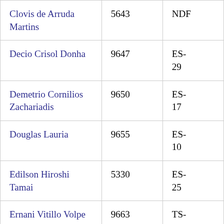| Clovis de Arruda Martins | 5643 | NDF |
| Decio Crisol Donha | 9647 | ES-29 |
| Demetrio Cornilios Zachariadis | 9650 | ES-17 |
| Douglas Lauria | 9655 | ES-10 |
| Edilson Hiroshi Tamai | 5330 | ES-25 |
| Ernani Vitillo Volpe | 9663 | TS-13 |